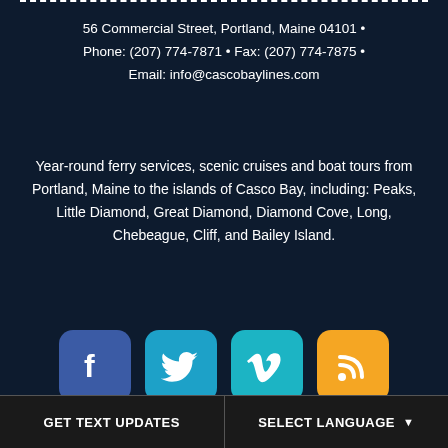56 Commercial Street, Portland, Maine 04101 • Phone: (207) 774-7871 • Fax: (207) 774-7875 • Email: info@cascobaylines.com
Year-round ferry services, scenic cruises and boat tours from Portland, Maine to the islands of Casco Bay, including: Peaks, Little Diamond, Great Diamond, Diamond Cove, Long, Chebeague, Cliff, and Bailey Island.
[Figure (logo): Four social media icons: Facebook (blue), Twitter (light blue), Vimeo (teal), RSS (orange)]
© 2022 Casco Bay Island Transit District.
GET TEXT UPDATES | SELECT LANGUAGE